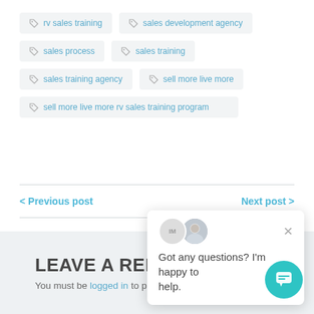rv sales training
sales development agency
sales process
sales training
sales training agency
sell more live more
sell more live more rv sales training program
< Previous post
Next post >
Got any questions? I'm happy to help.
LEAVE A REPLY
You must be logged in to post a comment.